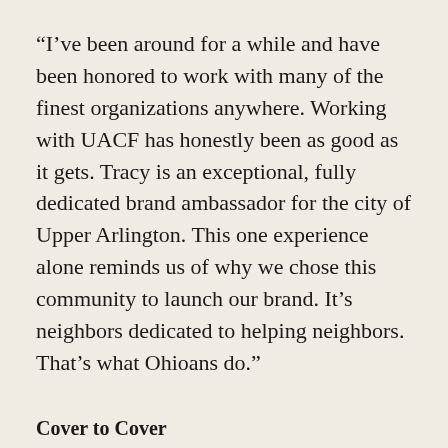“I’ve been around for a while and have been honored to work with many of the finest organizations anywhere. Working with UACF has honestly been as good as it gets. Tracy is an exceptional, fully dedicated brand ambassador for the city of Upper Arlington. This one experience alone reminds us of why we chose this community to launch our brand. It’s neighbors dedicated to helping neighbors. That’s what Ohioans do.”
Cover to Cover
When the pandemic hit, owner Melia Wolf decided to close the storefront and only